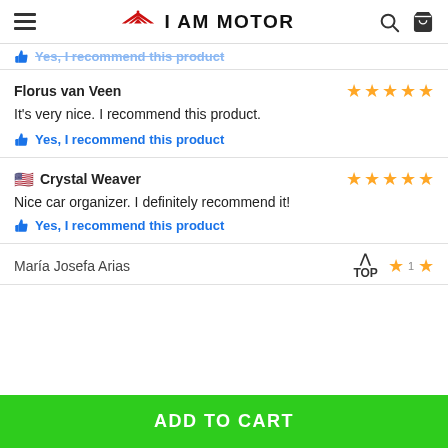I AM MOTOR
Yes, I recommend this product (partial, cut off at top)
Florus van Veen — ★★★★★
It's very nice. I recommend this product.
👍 Yes, I recommend this product
Crystal Weaver — ★★★★★
Nice car organizer. I definitely recommend it!
👍 Yes, I recommend this product
María Josefa Arias — ★ (partial)
ADD TO CART